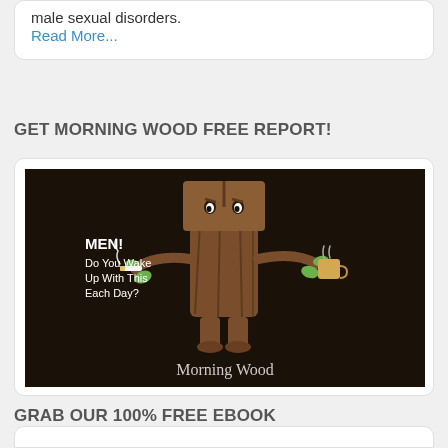male sexual disorders.
Read More...
GET MORNING WOOD FREE REPORT!
[Figure (illustration): Cartoon anthropomorphic tree stump character holding a coffee cup and a cigarette, with text overlay reading 'MEN! Do You Wake Up With This Each Day?' and title 'Morning Wood' at the bottom, on a dark background.]
GRAB OUR 100% FREE EBOOK